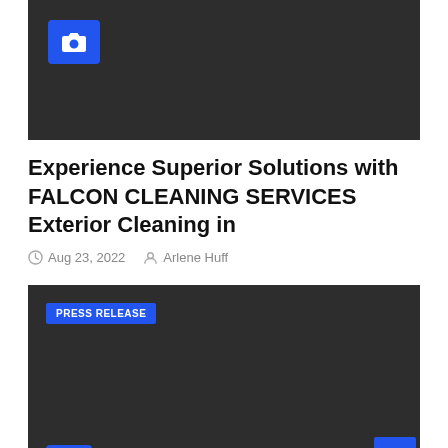[Figure (photo): Dark image placeholder with a blue camera icon in the top-left corner]
Experience Superior Solutions with FALCON CLEANING SERVICES Exterior Cleaning in
Aug 23, 2022  Arlene Huff
[Figure (photo): Dark image with PRESS RELEASE badge in blue at top-left, and a blue camera icon at bottom-left. A blue back-to-top button is at the bottom-right.]